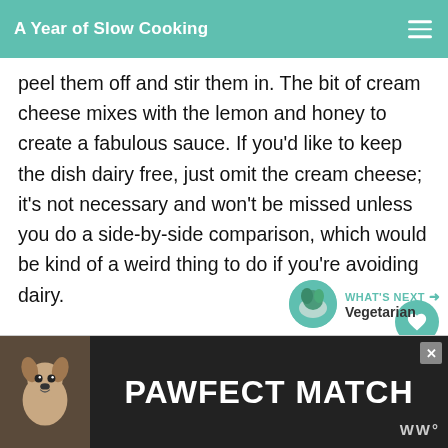A Year of Slow Cooking
peel them off and stir them in. The bit of cream cheese mixes with the lemon and honey to create a fabulous sauce. If you'd like to keep the dish dairy free, just omit the cream cheese; it's not necessary and won't be missed unless you do a side-by-side comparison, which would be kind of a weird thing to do if you're avoiding dairy.
[Figure (other): PAWFECT MATCH advertisement banner with a dog illustration]
WHAT'S NEXT → Vegetarian